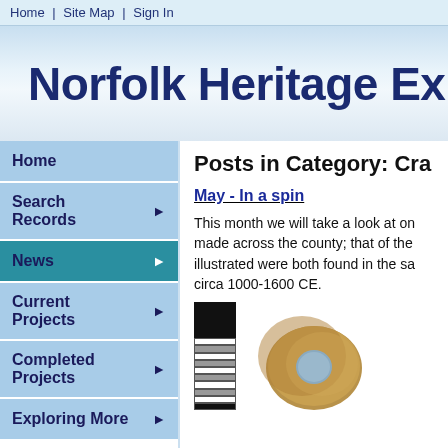Home | Site Map | Sign In
Norfolk Heritage Ex
Home
Search Records
News
Current Projects
Completed Projects
Exploring More
Posts in Category: Cra
May - In a spin
This month we will take a look at one of the most common find types made across the county; that of the illustrated were both found in the sa circa 1000-1600 CE.
[Figure (photo): A scale ruler and a circular ceramic or stone artifact with a hole through its centre, yellowish-brown in colour]